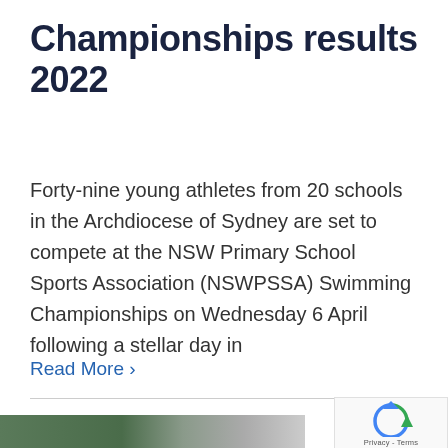Championships results 2022
Forty-nine young athletes from 20 schools in the Archdiocese of Sydney are set to compete at the NSW Primary School Sports Association (NSWPSSA) Swimming Championships on Wednesday 6 April following a stellar day in
Read More ›
[Figure (photo): Photo strip showing young students, partially visible at bottom of page]
[Figure (other): reCAPTCHA widget showing rotating arrows icon with Privacy - Terms text]